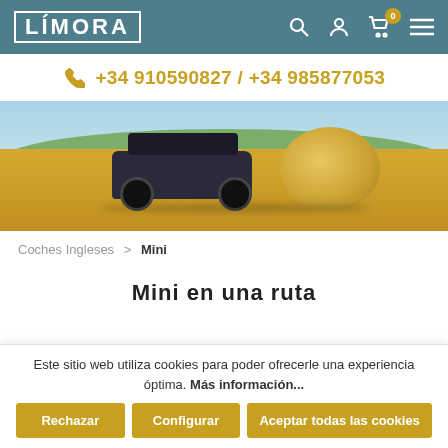LÍMORA — navigation header with logo, search, account, cart (0), menu icons
+34 910590827 / +34 985877053
[Figure (photo): A classic Mini Cooper with a rooftop cargo box parked in a harvested field next to a large round hay bale, with hills and blue sky in the background.]
Coches Ingleses > Mini
Mini en una ruta
Este sitio web utiliza cookies para poder ofrecerle una experiencia óptima. Más información...
Rechazar
Configurar
Aceptar todas las cookies